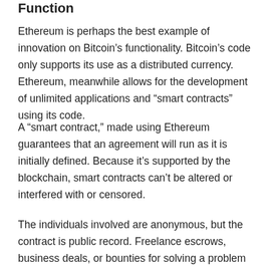Function
Ethereum is perhaps the best example of innovation on Bitcoin's functionality. Bitcoin's code only supports its use as a distributed currency. Ethereum, meanwhile allows for the development of unlimited applications and “smart contracts” using its code.
A “smart contract,” made using Ethereum guarantees that an agreement will run as it is initially defined. Because it’s supported by the blockchain, smart contracts can’t be altered or interfered with or censored.
The individuals involved are anonymous, but the contract is public record. Freelance escrows, business deals, or bounties for solving a problem are all potential applications of this, and multiple third